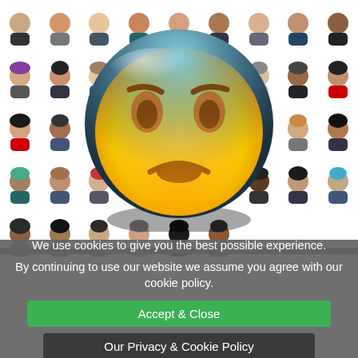[Figure (illustration): Grid of cartoon avatar icons showing diverse people with different hairstyles and appearances, with a large worried/shocked emoji face overlaid in the center]
We use cookies to give you the best possible experience.
By continuing to use our website we assume you agree with our cookie policy.
Accept & Close
Our Privacy & Cookie Policy